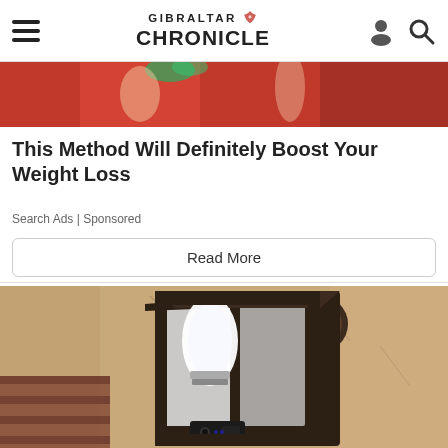GIBRALTAR CHRONICLE
[Figure (photo): Partial photo strip showing people in red clothing, cropped at top]
This Method Will Definitely Boost Your Weight Loss
Search Ads | Sponsored
Read More
[Figure (photo): Photo of a wall-mounted outdoor lantern-style light fixture with a white bulb, mounted on a textured stucco wall with brick detail, appears to contain a security camera]